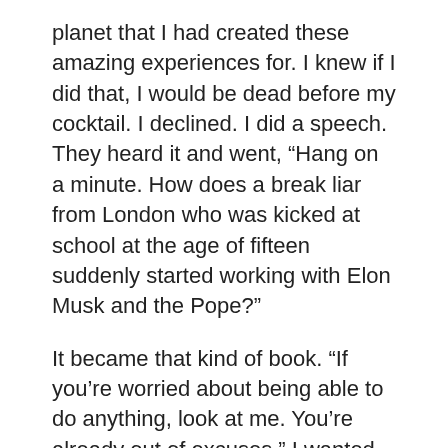planet that I had created these amazing experiences for. I knew if I did that, I would be dead before my cocktail. I declined. I did a speech. They heard it and went, “Hang on a minute. How does a break liar from London who was kicked at school at the age of fifteen suddenly started working with Elon Musk and the Pope?”
It became that kind of book. “If you’re worried about being able to do anything, look at me. You’re already out of excuses.” I wanted to teach people how to stop overthinking and start overdoing, how to go for stupid, how to stop going for the impossible. I’ve never liked that term. Go for the stupid. Go for stuff that’s so ridiculous. People will laugh at you before they applaud. We wrote